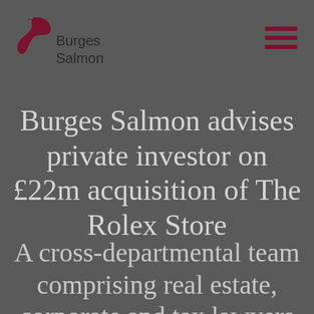Burges Salmon [logo]
Burges Salmon advises private investor on £22m acquisition of The Rolex Store
A cross-departmental team comprising real estate, corporate and tax lawyers from Burges Salmon has advised a